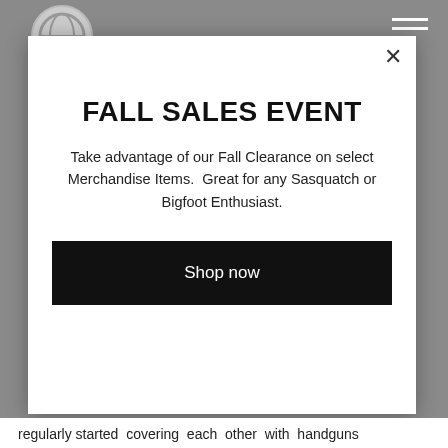[Figure (logo): Circular logo partially visible at top-left of page background]
[Figure (other): Hamburger menu icon (three horizontal lines) at top-right of page background]
FALL SALES EVENT
Take advantage of our Fall Clearance on select Merchandise Items.  Great for any Sasquatch or Bigfoot Enthusiast.
Shop now
regularly started  covering  each  other  with  handguns